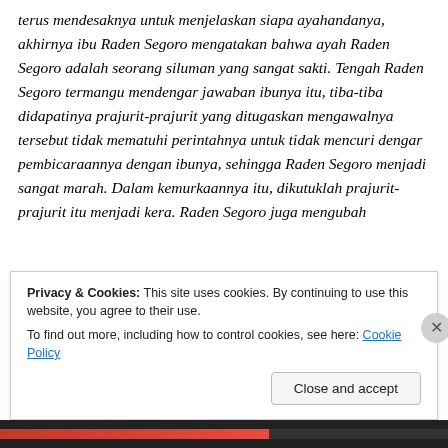terus mendesaknya untuk menjelaskan siapa ayahandanya, akhirnya ibu Raden Segoro mengatakan bahwa ayah Raden Segoro adalah seorang siluman yang sangat sakti. Tengah Raden Segoro termangu mendengar jawaban ibunya itu, tiba-tiba didapatinya prajurit-prajurit yang ditugaskan mengawalnya tersebut tidak mematuhi perintahnya untuk tidak mencuri dengar pembicaraannya dengan ibunya, sehingga Raden Segoro menjadi sangat marah. Dalam kemurkaannya itu, dikutuklah prajurit-prajurit itu menjadi kera. Raden Segoro juga mengubah
Privacy & Cookies: This site uses cookies. By continuing to use this website, you agree to their use.
To find out more, including how to control cookies, see here: Cookie Policy
Close and accept